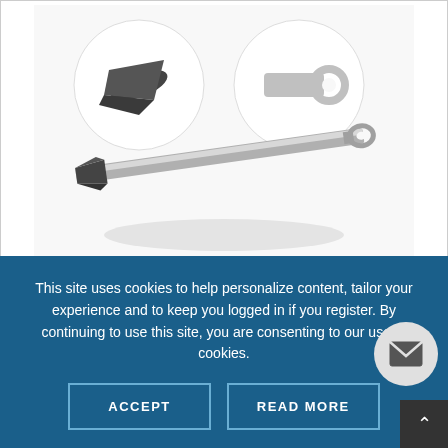[Figure (photo): A Spiked Darrach Type Elevator surgical instrument shown from above, with two circular inset detail views showing the spiked tip and the loop handle end. The instrument is made of stainless steel with a dark/black spiked tip.]
Spiked Darrach Type Elevator
SKU: G32-160
Spiked darrach type elevator is ideal for glenoids anterior rim
This site uses cookies to help personalize content, tailor your experience and to keep you logged in if you register. By continuing to use this site, you are consenting to our use of cookies.